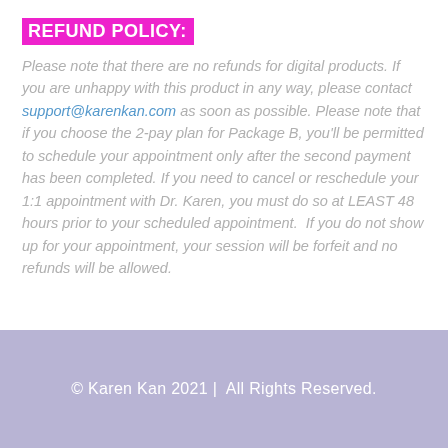REFUND POLICY:
Please note that there are no refunds for digital products. If you are unhappy with this product in any way, please contact support@karenkan.com as soon as possible. Please note that if you choose the 2-pay plan for Package B, you'll be permitted to schedule your appointment only after the second payment has been completed. If you need to cancel or reschedule your 1:1 appointment with Dr. Karen, you must do so at LEAST 48 hours prior to your scheduled appointment.  If you do not show up for your appointment, your session will be forfeit and no refunds will be allowed.
© Karen Kan 2021 |  All Rights Reserved.